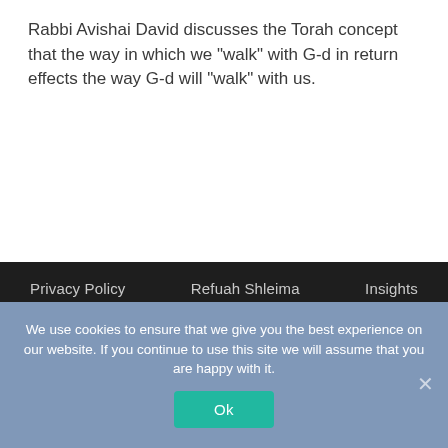Rabbi Avishai David discusses the Torah concept that the way in which we "walk" with G-d in return effects the way G-d will "walk" with us.
Privacy Policy   Refuah Shleima   Insights   Weekly Newsletters   Teach at Naaleh   Contact
We use cookies to ensure that we give you the best experience on our website. If you continue to use this site we will assume that you are happy with it.